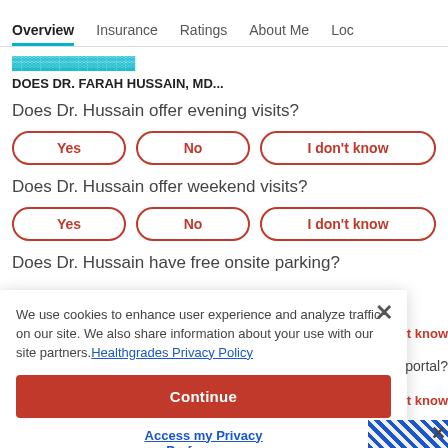Overview | Insurance | Ratings | About Me | Loc
DOES DR. FARAH HUSSAIN, MD...
Does Dr. Hussain offer evening visits?
Yes | No | I don't know
Does Dr. Hussain offer weekend visits?
Yes | No | I don't know
Does Dr. Hussain have free onsite parking?
We use cookies to enhance user experience and analyze traffic on our site. We also share information about your use with our site partners. Healthgrades Privacy Policy
Continue
Access my Privacy Preferences